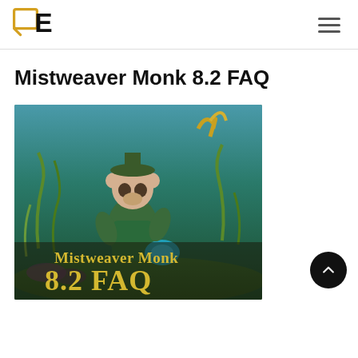QE logo and navigation
Mistweaver Monk 8.2 FAQ
[Figure (screenshot): World of Warcraft Mistweaver Monk character in an underwater/nature scene with text overlay reading 'Mistweaver Monk 8.2 FAQ']